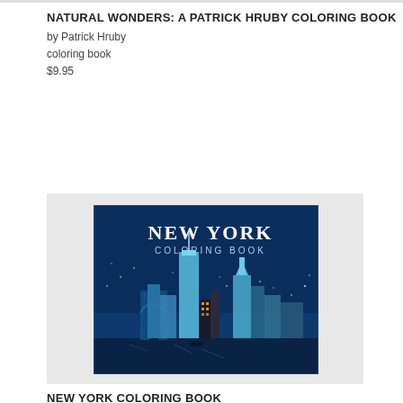NATURAL WONDERS: A PATRICK HRUBY COLORING BOOK
by Patrick Hruby
coloring book
$9.95
[Figure (photo): Cover of New York Coloring Book showing a blue illustrated nighttime NYC skyline with the Brooklyn Bridge, skyscrapers, crescent moon, and city lights against a dark blue background. Title text reads NEW YORK COLORING BOOK.]
NEW YORK COLORING BOOK